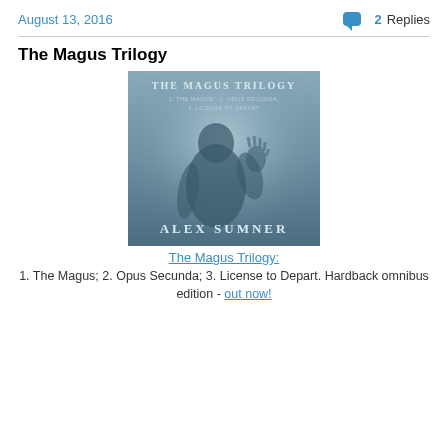August 13, 2016
2 Replies
The Magus Trilogy
[Figure (illustration): Book cover for 'The Magus Trilogy' by Alex Sumner. Shows a shadowy silhouette of a person against a foggy blue-grey background with hand raised. Text on cover reads: THE MAGUS TRILOGY / 1. THE MAGUS · 2. OPUS SECUNDA / 3. LICENSE TO DEPART / ALEX SUMNER]
The Magus Trilogy:
1. The Magus; 2. Opus Secunda; 3. License to Depart. Hardback omnibus edition - out now!